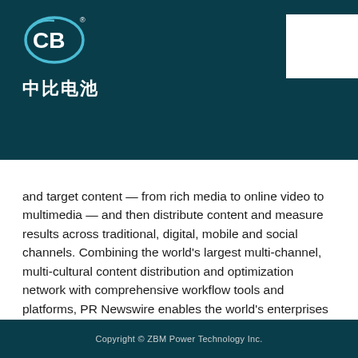[Figure (logo): CB logo with circular emblem and Chinese characters 中比电池 below on dark teal background]
and target content — from rich media to online video to multimedia — and then distribute content and measure results across traditional, digital, mobile and social channels. Combining the world's largest multi-channel, multi-cultural content distribution and optimization network with comprehensive workflow tools and platforms, PR Newswire enables the world's enterprises to engage opportunity everywhere it exists. PR Newswire serves tens of thousands of clients from offices in the Americas, Europe, Middle East, Africa and the Asia-Pacific region, and is a UBM plc company.
Copyright © ZBM Power Technology Inc.